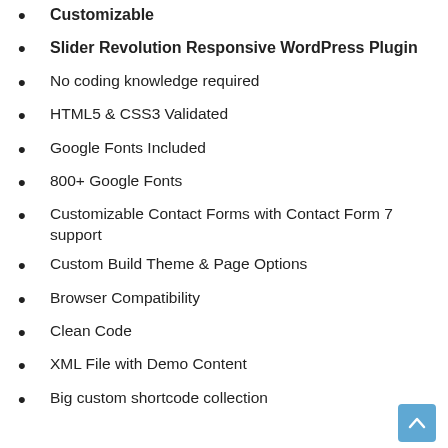Customizable
Slider Revolution Responsive WordPress Plugin
No coding knowledge required
HTML5 & CSS3 Validated
Google Fonts Included
800+ Google Fonts
Customizable Contact Forms with Contact Form 7 support
Custom Build Theme & Page Options
Browser Compatibility
Clean Code
XML File with Demo Content
Big custom shortcode collection